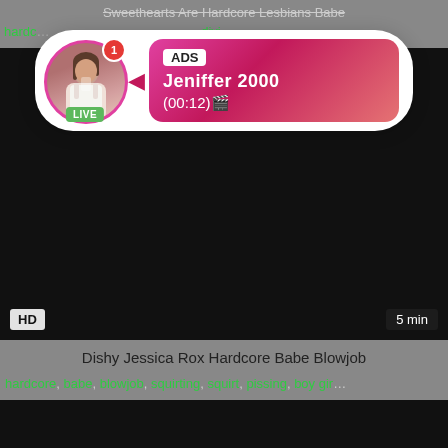Sweethearts Are Hardcore Lesbians Babe
hardcore, babe, divi...
[Figure (screenshot): Black video player area with HD badge and 5 min duration label]
[Figure (infographic): ADS popup overlay with avatar circle (LIVE badge, notification badge showing 1), pink gradient info box showing 'ADS', 'Jeniffer 2000', '(00:12)']
Dishy Jessica Rox Hardcore Babe Blowjob
hardcore, babe, blowjob, squirting, squirt, pissing, boy gir...
[Figure (screenshot): Second black video player area]